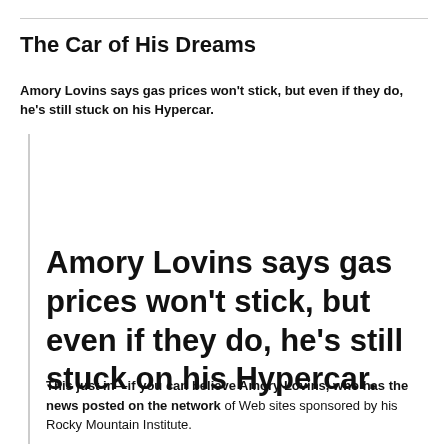The Car of His Dreams
Amory Lovins says gas prices won't stick, but even if they do, he's still stuck on his Hypercar.
Amory Lovins says gas prices won't stick, but even if they do, he's still stuck on his Hypercar.
This just in—if you can believe Amory Lovins, who has the news posted on the network of Web sites sponsored by his Rocky Mountain Institute.